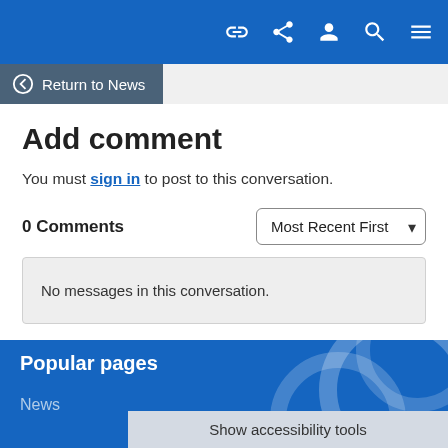Navigation bar with icons: link, share, user, search, menu
Return to News
Add comment
You must sign in to post to this conversation.
0 Comments
No messages in this conversation.
Popular pages
News
Show accessibility tools